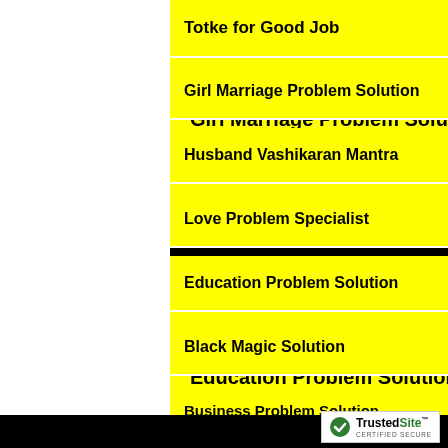Totke for Good Job
Girl Marriage Problem Solution
Husband Vashikaran Mantra
Love Problem Specialist
Education Problem Solution
Black Magic Solution
Business Problem Solution Specialist
Money Problem Solution Specialist
Wife Vashikaran Specialist | Patni Vashikaran
[Figure (logo): TrustedSite Certified Secure badge]